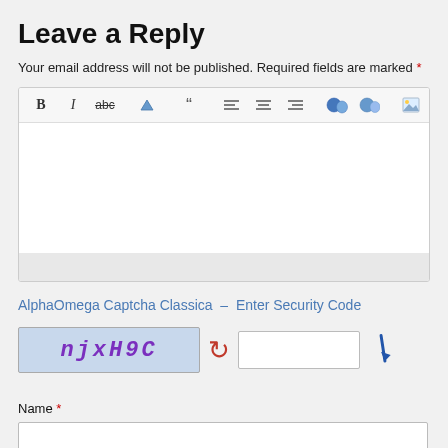Leave a Reply
Your email address will not be published. Required fields are marked *
[Figure (screenshot): Rich text editor toolbar with buttons for Bold, Italic, Strikethrough, Eraser, Blockquote, Align Left, Align Center, Align Right, Emoji, Emoji, Image, Omega special character, and an empty text editing area below with a gray resize handle at the bottom.]
AlphaOmega Captcha Classica – Enter Security Code
[Figure (screenshot): CAPTCHA widget showing a light blue image with the text 'njxH9C' in purple italic bold letters, a red refresh/reload icon, an empty text input box, and a blue arrow/pen icon.]
Name *
[Figure (screenshot): Empty text input field for Name]